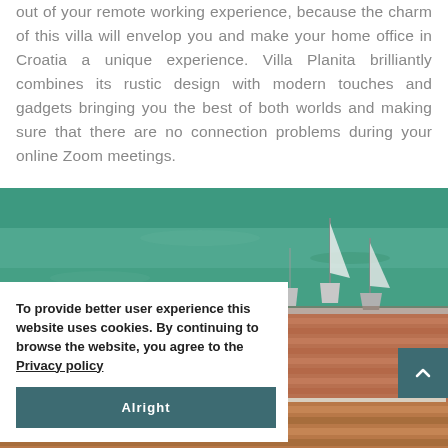out of your remote working experience, because the charm of this villa will envelop you and make your home office in Croatia a unique experience. Villa Planita brilliantly combines its rustic design with modern touches and gadgets bringing you the best of both worlds and making sure that there are no connection problems during your online Zoom meetings.
[Figure (photo): Aerial view of a Croatian coastal village showing green water with moored sailboats, terracotta rooftops, and a rooftop jacuzzi/hot tub, with another partial photo at the bottom showing more rooftops]
To provide better user experience this website uses cookies. By continuing to browse the website, you agree to the Privacy policy